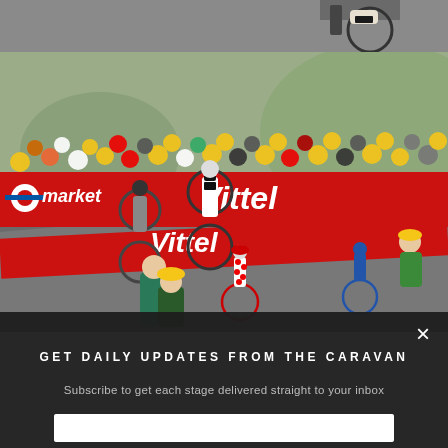[Figure (photo): Top portion of a cycling race photo showing a cyclist's lower body and bicycle wheel on a road]
[Figure (photo): Tour de France cycling race scene: cyclists racing uphill past a large crowd of spectators behind red Vittel and Carrefour market sponsor banners on a mountain road]
×
GET DAILY UPDATES FROM THE CARAVAN
Subscribe to get each stage delivered straight to your inbox